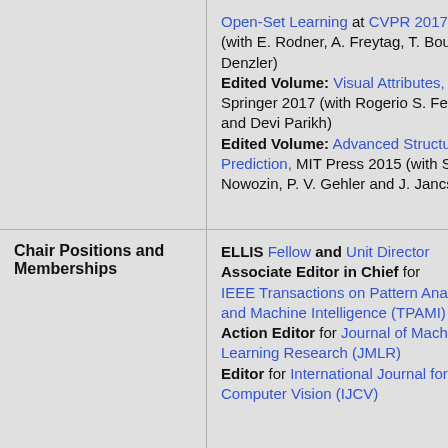Open-Set Learning at CVPR 2017 (with E. Rodner, A. Freytag, T. Boult, J. Denzler) Edited Volume: Visual Attributes, Springer 2017 (with Rogerio S. Feris and Devi Parikh) Edited Volume: Advanced Structured Prediction, MIT Press 2015 (with S. Nowozin, P. V. Gehler and J. Jancsary)
Chair Positions and Memberships
ELLIS Fellow and Unit Director Associate Editor in Chief for IEEE Transactions on Pattern Analysis and Machine Intelligence (TPAMI) Action Editor for Journal of Machine Learning Research (JMLR) Editor for International Journal for Computer Vision (IJCV)
External Talks
17 August 2022: "Behind the Scenes: How Does One Become a (Machine Learning) Researcher and What Does It Mean To Be One?" – Estonian Summer School